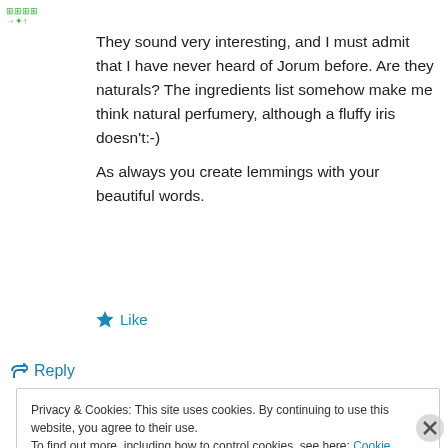[Figure (other): Small green icon/logo in top left corner]
They sound very interesting, and I must admit that I have never heard of Jorum before. Are they naturals? The ingredients list somehow make me think natural perfumery, although a fluffy iris doesn't:-)
As always you create lemmings with your beautiful words.
★ Like
↳ Reply
Privacy & Cookies: This site uses cookies. By continuing to use this website, you agree to their use.
To find out more, including how to control cookies, see here: Cookie Policy
Close and accept